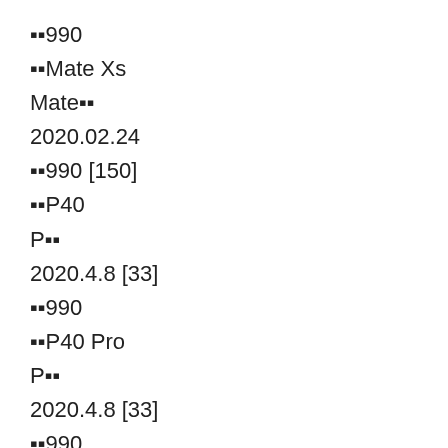▪▪990
▪▪Mate Xs
Mate▪▪
2020.02.24
▪▪990 [150]
▪▪P40
P▪▪
2020.4.8 [33]
▪▪990
▪▪P40 Pro
P▪▪
2020.4.8 [33]
▪▪990
▪▪P40 Pro+
P▪▪
2020.4.8 [33]
▪▪990